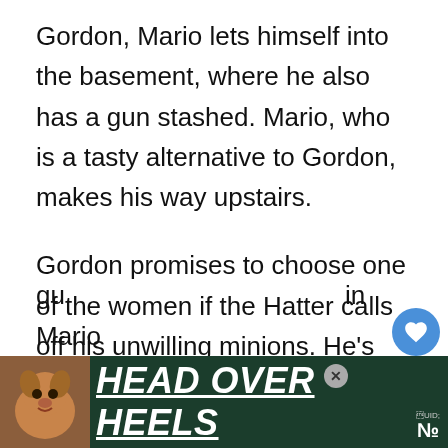Gordon, Mario lets himself into the basement, where he also has a gun stashed. Mario, who is a tasty alternative to Gordon, makes his way upstairs.
Gordon promises to choose one of the women if the Hatter calls off his unwilling minions. He's afraid they'll accidentally shoot him by accident. Mario comes up behind the Hatter, who is still armed himself. But Gordon's plan doesn't work out as he had hop—Hatter switched the bullets to blanks in Mario's gu— in Mario
[Figure (other): Advertisement banner at bottom: dark green background with a dog photo on the left and bold white italic underlined text 'HEAD OVER HEELS'. A close button (X) and a small logo are visible.]